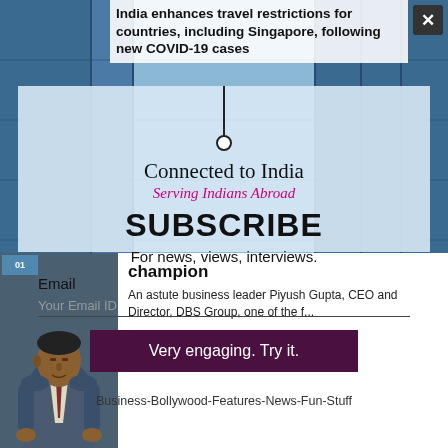India enhances travel restrictions for countries, including Singapore, following new COVID-19 cases
[Figure (screenshot): Website screenshot of Connected to India / Serving Indians Abroad subscription modal overlay on top of a blue glass building background photo. Modal contains logo pin, Connected to India heading, Serving Indians Abroad subtitle, SUBSCRIBE heading, email input field, and submit button.]
Connected to India
Serving Indians Abroad
SUBSCRIBE
For news, views, interviews.
Email
Your Email ID
Very engaging. Try it.
Business-Bollywood-Features-News-Fun-Stuff
champion
An astute business leader Piyush Gupta, CEO and Director, DBS Group, one of the f...